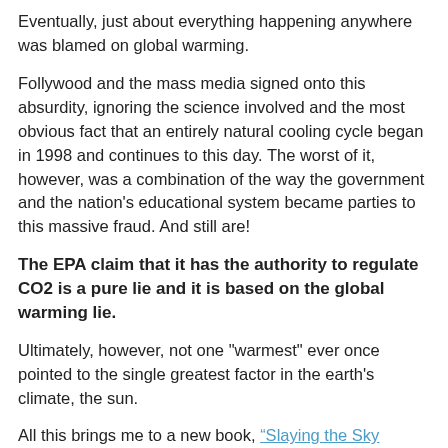Eventually, just about everything happening anywhere was blamed on global warming.
Follywood and the mass media signed onto this absurdity, ignoring the science involved and the most obvious fact that an entirely natural cooling cycle began in 1998 and continues to this day. The worst of it, however, was a combination of the way the government and the nation's educational system became parties to this massive fraud. And still are!
The EPA claim that it has the authority to regulate CO2 is a pure lie and it is based on the global warming lie.
Ultimately, however, not one "warmest" ever once pointed to the single greatest factor in the earth's climate, the sun.
All this brings me to a new book, “Slaying the Sky Dragon: Death of the Greenhouse Gas Theory”, by eight co-authors, contributors whose expertise ranges across climatology, meteorology, physics, and mathematics, along with an expert in the legal aspects of the hoax. All have been derided as